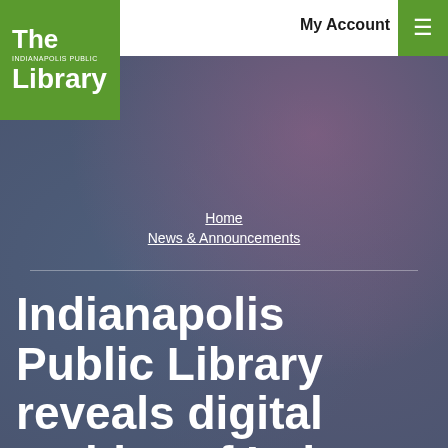[Figure (logo): The Indianapolis Public Library green logo box in top-left corner with white text]
My Account
Home
News & Announcements
Indianapolis Public Library reveals digital archive of Indy Parks history